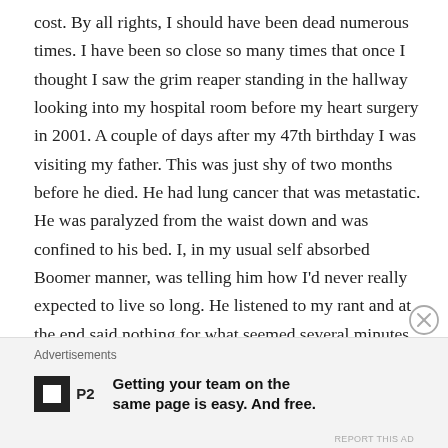cost. By all rights, I should have been dead numerous times. I have been so close so many times that once I thought I saw the grim reaper standing in the hallway looking into my hospital room before my heart surgery in 2001. A couple of days after my 47th birthday I was visiting my father. This was just shy of two months before he died. He had lung cancer that was metastatic. He was paralyzed from the waist down and was confined to his bed. I, in my usual self absorbed Boomer manner, was telling him how I'd never really expected to live so long. He listened to my rant and at the end said nothing for what seemed several minutes. He had been staring at the wall in front on his bed as I talked and he
Advertisements
[Figure (logo): P2 logo and advertisement: Getting your team on the same page is easy. And free.]